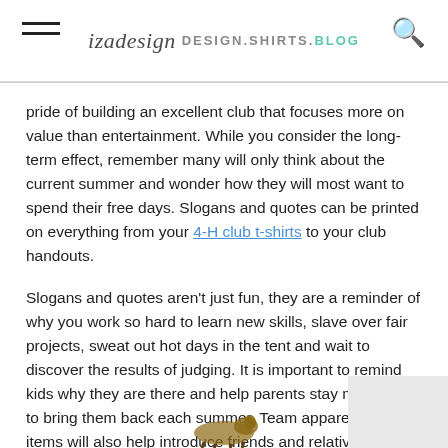izadesign DESIGN.SHIRTS.BLOG
pride of building an excellent club that focuses more on value than entertainment. While you consider the long-term effect, remember many will only think about the current summer and wonder how they will most want to spend their free days. Slogans and quotes can be printed on everything from your 4-H club t-shirts to your club handouts.
Slogans and quotes aren't just fun, they are a reminder of why you work so hard to learn new skills, slave over fair projects, sweat out hot days in the tent and wait to discover the results of judging. It is important to remind kids why they are there and help parents stay motivated to bring them back each summer. Team apparel and items will also help introduce friends and relatives of your members to the 4-H club, growing your base for future years to come.
[Figure (photo): Partial image of an animal (horse or similar) visible at bottom of page]